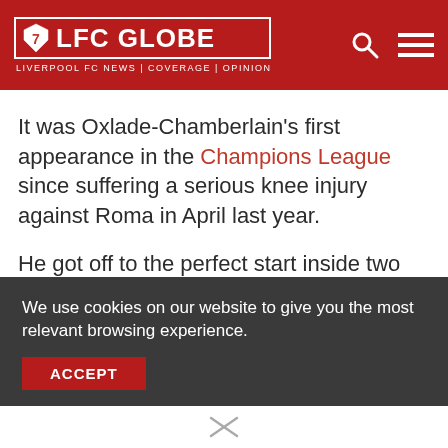LFC GLOBE — LIVERPOOL FC NEWS | COVERAGE | OPINION
It was Oxlade-Chamberlain's first appearance in the Champions League since suffering a serious knee injury against Roma in April last year.
He got off to the perfect start inside two minutes as he sent a low shot across the goalkeeper to give Liverpool a 1-0 lead.
We use cookies on our website to give you the most relevant browsing experience.